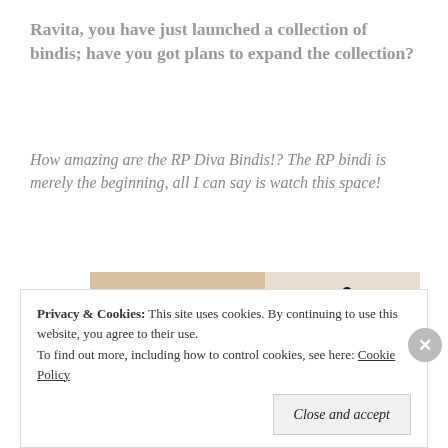Ravita, you have just launched a collection of bindis; have you got plans to expand the collection?
How amazing are the RP Diva Bindis!? The RP bindi is merely the beginning, all I can say is watch this space!
[Figure (photo): A collage photograph showing a woman's eyes with a red bindi on her forehead on the left side, and a decorative round red bindi ornament with a black lace border on the right side, with some background elements including book pages.]
Privacy & Cookies:  This site uses cookies. By continuing to use this website, you agree to their use.
To find out more, including how to control cookies, see here: Cookie Policy
Close and accept